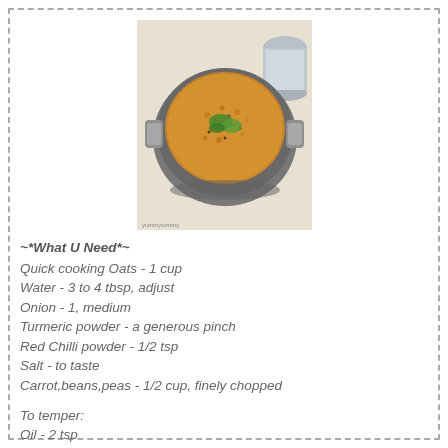[Figure (photo): A silver kadai (Indian cooking pan with handles) containing a cooked oats upma dish garnished with green herbs, viewed from above on a white cloth background with a steel tumbler in the corner]
~*What U Need*~
Quick cooking Oats - 1 cup
Water - 3 to 4 tbsp, adjust
Onion - 1, medium
Turmeric powder - a generous pinch
Red Chilli powder - 1/2 tsp
Salt - to taste
Carrot,beans,peas - 1/2 cup, finely chopped
To temper:
Oil - 2 tsp
Mustard seeds - 3/4 tsp
Urad dal - 1/2 tsp